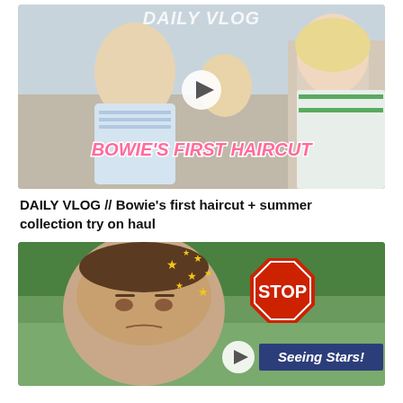[Figure (screenshot): YouTube video thumbnail showing two young blonde boys and a blonde woman. Text overlays read 'DAILY VLOG' at top and 'BOWIE'S FIRST HAIRCUT' in pink italic text at bottom. A white play button circle is visible in center.]
DAILY VLOG // Bowie's first haircut + summer collection try on haul
[Figure (screenshot): YouTube video thumbnail showing a man's face with yellow stars around his head, a red stop sign on the right, a play button, and 'Seeing Stars!' text on a dark blue banner.]